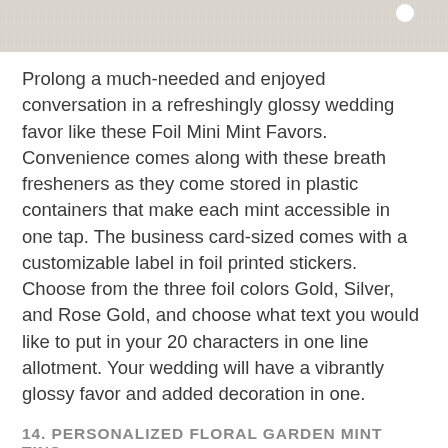[Figure (photo): Top portion of a fabric/linen textured background with a small white circular element visible at upper right]
Prolong a much-needed and enjoyed conversation in a refreshingly glossy wedding favor like these Foil Mini Mint Favors. Convenience comes along with these breath fresheners as they come stored in plastic containers that make each mint accessible in one tap. The business card-sized comes with a customizable label in foil printed stickers. Choose from the three foil colors Gold, Silver, and Rose Gold, and choose what text you would like to put in your 20 characters in one line allotment. Your wedding will have a vibrantly glossy favor and added decoration in one.
14. PERSONALIZED FLORAL GARDEN MINT TINS
[Figure (screenshot): Chat with us button (pink/mauve rounded pill button) overlaid on page]
[Figure (photo): Bottom image showing green botanical/plant leaves against a tan/gold dotted background]